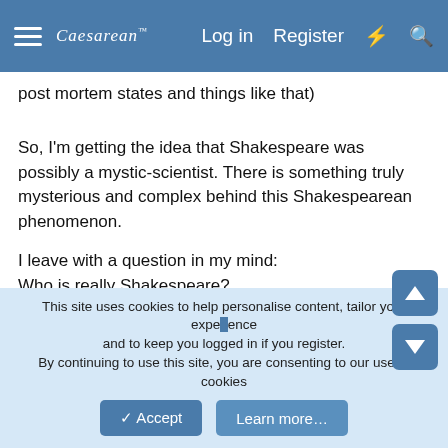Caesarean [logo] | Log in | Register | [lightning] | [search]
post mortem states and things like that)
So, I'm getting the idea that Shakespeare was possibly a mystic-scientist. There is something truly mysterious and complex behind this Shakespearean phenomenon.
I leave with a question in my mind:
Who is really Shakespeare?
For the moment, this is all I can offer, my little grain of sand.
[Figure (illustration): Yellow emoji reading a blue book]
I'll keep studying this impressive riddle.
YoYa, PERLOU, Olivierlejardinier and 4 others
This site uses cookies to help personalise content, tailor your experience and to keep you logged in if you register.
By continuing to use this site, you are consenting to our use of cookies
✓ Accept   Learn more…